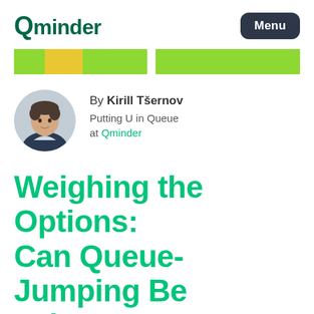Qminder — Menu
[Figure (other): Green and yellow banner strip at top of page]
[Figure (photo): Circular portrait photo of Kirill Tsernov, a young man with short dark hair wearing a dark jacket]
By Kirill Tšernov
Putting U in Queue
at Qminder
Weighing the Options: Can Queue-Jumping Be Fair?